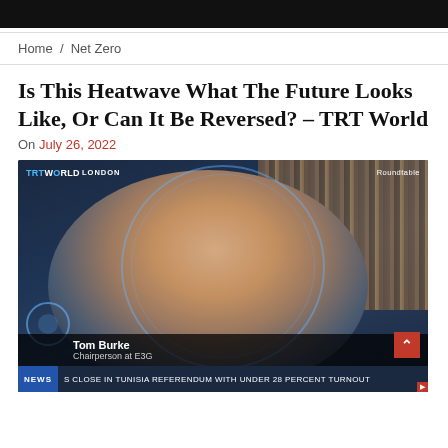[Figure (screenshot): Dark top image bar from a website]
Home / Net Zero
Is This Heatwave What The Future Looks Like, Or Can It Be Reversed? – TRT World
On July 26, 2022
[Figure (screenshot): TRT World Roundtable TV screenshot showing Tom Burke, Chairperson at E3G, appearing via video link from London. News ticker reads: CLOSE IN TUNISIA REFERENDUM WITH UNDER 28 PERCENT TURNOUT]